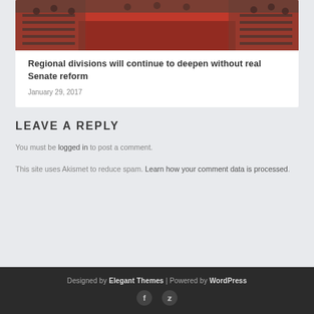[Figure (photo): Photo of a legislative chamber/senate floor with red carpet and rows of legislators seated at wooden desks]
Regional divisions will continue to deepen without real Senate reform
January 29, 2017
LEAVE A REPLY
You must be logged in to post a comment.
This site uses Akismet to reduce spam. Learn how your comment data is processed.
Designed by Elegant Themes | Powered by WordPress